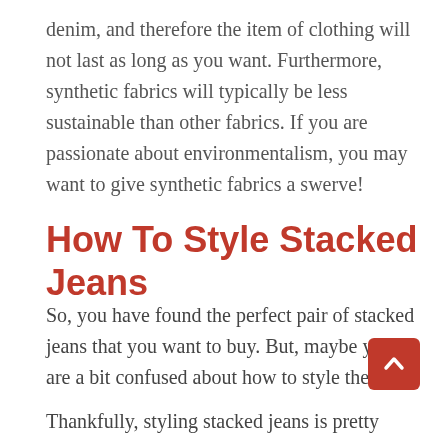denim, and therefore the item of clothing will not last as long as you want. Furthermore, synthetic fabrics will typically be less sustainable than other fabrics. If you are passionate about environmentalism, you may want to give synthetic fabrics a swerve!
How To Style Stacked Jeans
So, you have found the perfect pair of stacked jeans that you want to buy. But, maybe you are a bit confused about how to style them!
Thankfully, styling stacked jeans is pretty easy, as